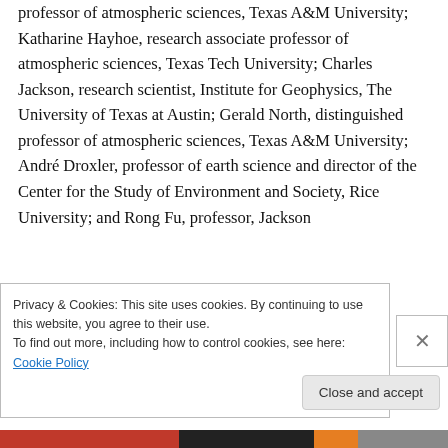professor of atmospheric sciences, Texas A&M University; Katharine Hayhoe, research associate professor of atmospheric sciences, Texas Tech University; Charles Jackson, research scientist, Institute for Geophysics, The University of Texas at Austin; Gerald North, distinguished professor of atmospheric sciences, Texas A&M University; André Droxler, professor of earth science and director of the Center for the Study of Environment and Society, Rice University; and Rong Fu, professor, Jackson
Privacy & Cookies: This site uses cookies. By continuing to use this website, you agree to their use.
To find out more, including how to control cookies, see here: Cookie Policy